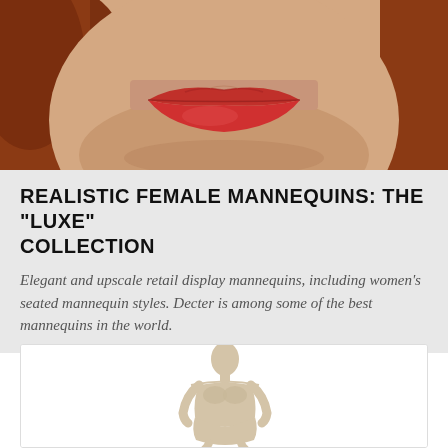[Figure (photo): Close-up photo of a realistic female mannequin face showing red lips and auburn hair against a skin-toned background]
REALISTIC FEMALE MANNEQUINS: THE "LUXE" COLLECTION
Elegant and upscale retail display mannequins, including women's seated mannequin styles. Decter is among some of the best mannequins in the world.
[Figure (photo): Full-body abstract/minimalist female mannequin with an egg-shaped featureless head, standing pose, skin-toned matte finish, white background]